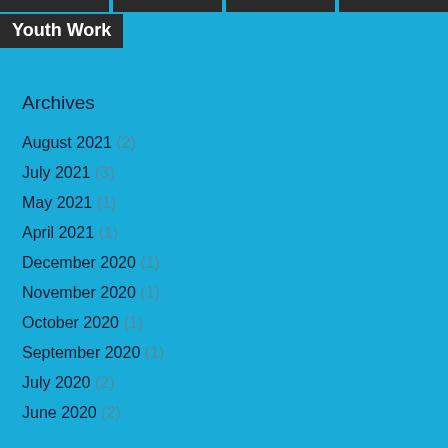Youth Work
Archives
August 2021 (2)
July 2021 (3)
May 2021 (1)
April 2021 (1)
December 2020 (1)
November 2020 (1)
October 2020 (1)
September 2020 (1)
July 2020 (2)
June 2020 (2)